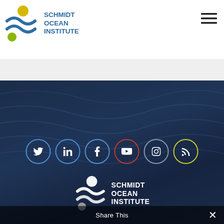Schmidt Ocean Institute
[Figure (logo): Schmidt Ocean Institute logo with wave graphic in blue, green, and yellow, and text SCHMIDT OCEAN INSTITUTE in blue]
[Figure (illustration): Hamburger/menu icon with three horizontal lines]
[Figure (photo): Dark navy blue ocean texture background section filling lower portion of page]
[Figure (infographic): Row of 6 social media icons in circles: Twitter (blue border), LinkedIn (blue border), Facebook (blue border), YouTube (red border), Instagram (grey border), RSS (yellow-green border)]
[Figure (logo): Schmidt Ocean Institute white logo with wave graphic, text SCHMIDT OCEAN INSTITUTE in white]
Share This